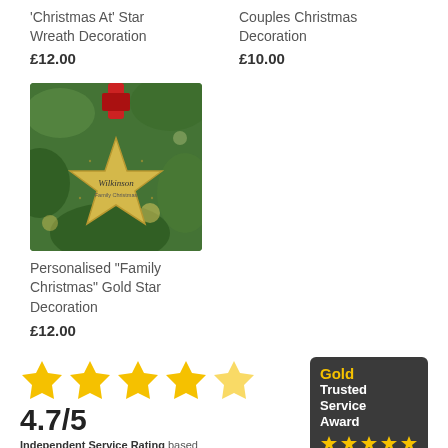'Christmas At' Star Wreath Decoration
£12.00
Couples Christmas Decoration
£10.00
[Figure (photo): A gold star-shaped Christmas decoration with a red ribbon, hanging on a Christmas tree. The star has 'Wilkinson Family Christmas' written on it.]
Personalised "Family Christmas" Gold Star Decoration
£12.00
[Figure (infographic): Five yellow stars rating display showing 4.7/5 with text 'Independent Service Rating based']
[Figure (logo): Gold Trusted Service Award 2022 feefo badge with dark background and five gold stars]